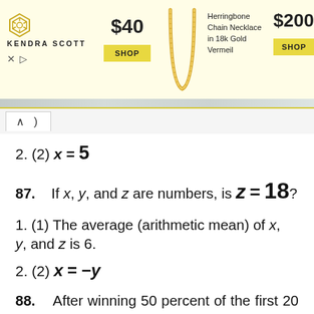[Figure (infographic): Kendra Scott advertisement banner with logo, $40 shop button, necklace image, Herringbone Chain Necklace in 18k Gold Vermeil description, $200 shop button]
2. (2) x = 5
87.    If x, y, and z are numbers, is z = 18?
1. (1) The average (arithmetic mean) of x, y, and z is 6.
2. (2) x = -y
88.    After winning 50 percent of the first 20 games it played, Team A won all of the remaining games it played. What was the total number of games that Team A won?